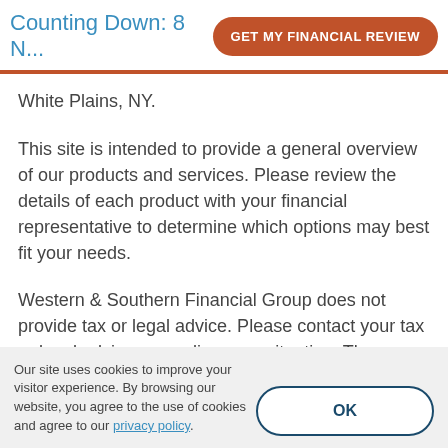Counting Down: 8 N...   GET MY FINANCIAL REVIEW
White Plains, NY.
This site is intended to provide a general overview of our products and services. Please review the details of each product with your financial representative to determine which options may best fit your needs.
Western & Southern Financial Group does not provide tax or legal advice. Please contact your tax or legal advisor regarding your situation. The information
Our site uses cookies to improve your visitor experience. By browsing our website, you agree to the use of cookies and agree to our privacy policy.